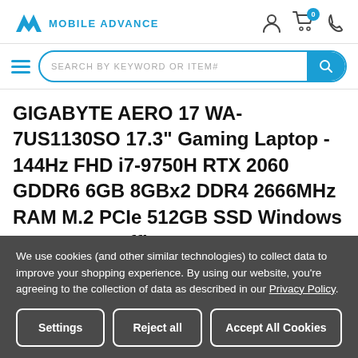[Figure (logo): Mobile Advance logo with blue chevron/A icon and blue text MOBILE ADVANCE]
[Figure (illustration): Header icons: user account icon, shopping cart with 0 badge, phone icon]
[Figure (illustration): Search bar with hamburger menu icon on left and blue magnifying glass search button on right. Placeholder text: SEARCH BY KEYWORD OR ITEM#]
GIGABYTE AERO 17 WA-7US1130SO 17.3" Gaming Laptop - 144Hz FHD i7-9750H RTX 2060 GDDR6 6GB 8GBx2 DDR4 2666MHz RAM M.2 PCIe 512GB SSD Windows 10 Home + Office 365
We use cookies (and other similar technologies) to collect data to improve your shopping experience. By using our website, you're agreeing to the collection of data as described in our Privacy Policy.
Settings | Reject all | Accept All Cookies